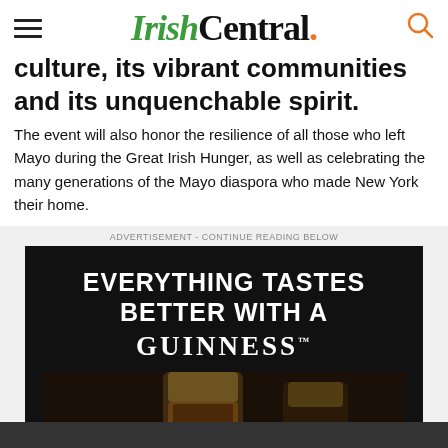IrishCentral.
culture, its vibrant communities and its unquenchable spirit.
The event will also honor the resilience of all those who left Mayo during the Great Irish Hunger, as well as celebrating the many generations of the Mayo diaspora who made New York their home.
[Figure (infographic): Guinness advertisement banner with text 'EVERYTHING TASTES BETTER WITH A GUINNESS' on black background with glass of Guinness beer at bottom]
ADVERTISEMENT - CONTINUE READING BELOW